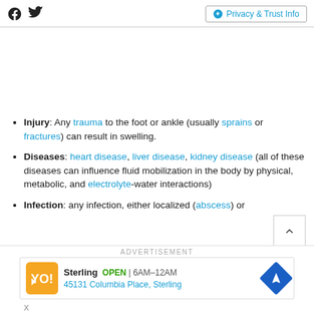Facebook Twitter | Privacy & Trust Info
Injury: Any trauma to the foot or ankle (usually sprains or fractures) can result in swelling.
Diseases: heart disease, liver disease, kidney disease (all of these diseases can influence fluid mobilization in the body by physical, metabolic, and electrolyte-water interactions)
Infection: any infection, either localized (abscess) or...
ADVERTISEMENT
[Figure (other): Advertisement banner for Sterling restaurant: OPEN 6AM-12AM, 45131 Columbia Place, Sterling]